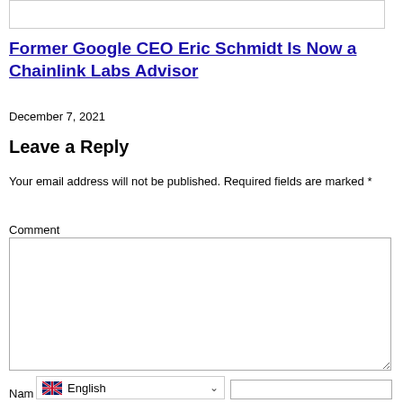[Figure (other): Empty bordered rectangle at the top of the page]
Former Google CEO Eric Schmidt Is Now a Chainlink Labs Advisor
December 7, 2021
Leave a Reply
Your email address will not be published. Required fields are marked *
Comment
[Figure (other): Comment textarea input box]
English (language selector dropdown with UK flag)
Nam